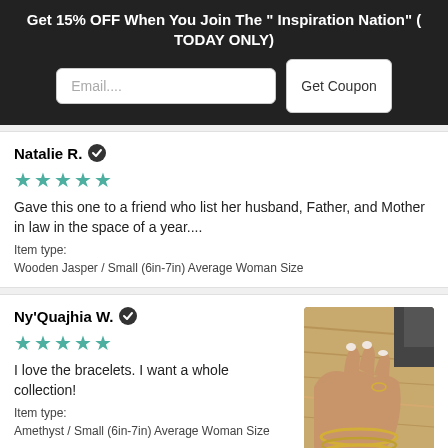Get 15% OFF When You Join The " Inspiration Nation" ( TODAY ONLY)
Natalie R. ✓
★★★★★
Gave this one to a friend who list her husband, Father, and Mother in law in the space of a year....
Item type:
Wooden Jasper / Small (6in-7in) Average Woman Size
Ny'Quajhia W. ✓
★★★★★
I love the bracelets. I want a whole collection!
Item type:
Amethyst / Small (6in-7in) Average Woman Size
[Figure (photo): A hand wearing gold bracelets resting on a wooden surface]
Earn Rewards